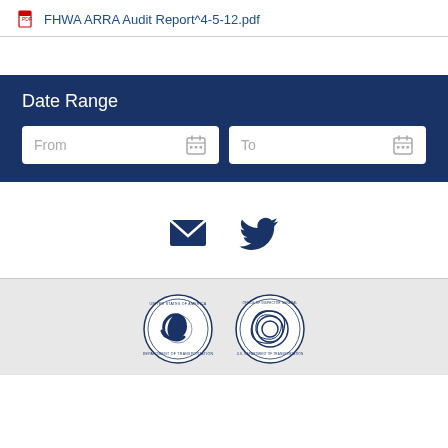FHWA ARRA Audit Report^4-5-12.pdf
[Figure (screenshot): Date Range filter UI with two date input fields labeled 'From' and 'To' with calendar icons, on a dark blue background]
[Figure (infographic): Email envelope icon and Twitter bird icon in dark navy blue]
[Figure (logo): Department of Transportation seal and Office of Inspector General seal side by side on gray background]